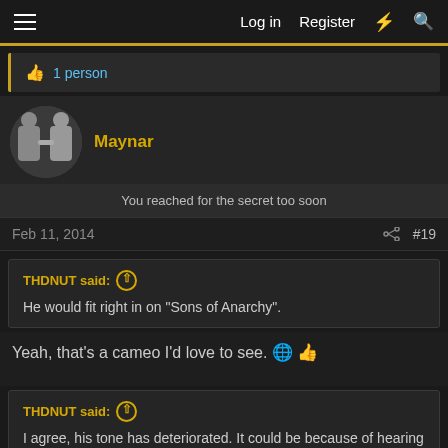Log in  Register
1 person
Maynar
You reached for the secret too soon
Feb 11, 2014  #19
THDNUT said:
He would fit right in on "Sons of Anarchy".
Yeah, that's a cameo I'd love to see.
THDNUT said:
I agree, his tone has deteriorated. It could be because of hearing loss.